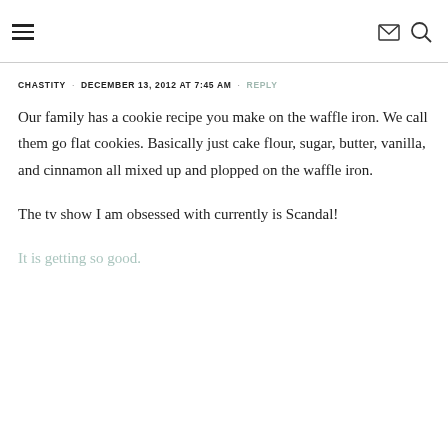≡  ✉ 🔍
CHASTITY · DECEMBER 13, 2012 AT 7:45 AM · REPLY
Our family has a cookie recipe you make on the waffle iron. We call them go flat cookies. Basically just cake flour, sugar, butter, vanilla, and cinnamon all mixed up and plopped on the waffle iron.
The tv show I am obsessed with currently is Scandal! It is getting so good.